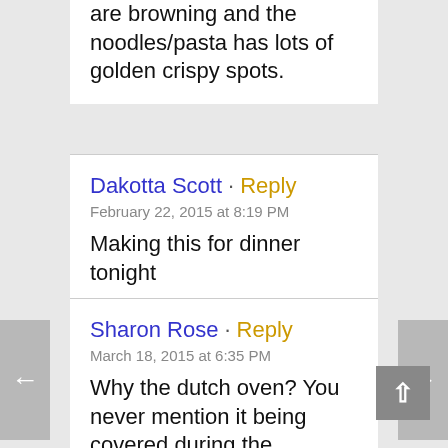are browning and the noodles/pasta has lots of golden crispy spots.
Dakotta Scott · Reply
February 22, 2015 at 8:19 PM
Making this for dinner tonight
Sharon Rose · Reply
March 18, 2015 at 6:35 PM
Why the dutch oven? You never mention it being covered during the process. Any reason not to use a cast iron or regular skillet?